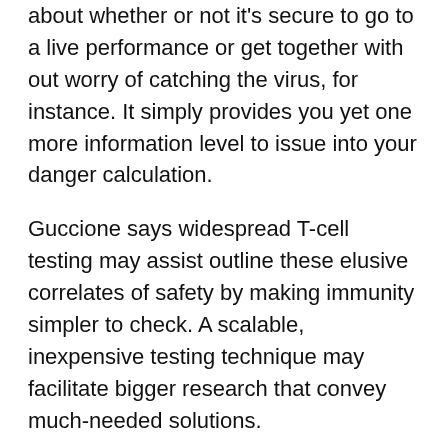about whether or not it's secure to go to a live performance or get together with out worry of catching the virus, for instance. It simply provides you yet one more information level to issue into your danger calculation.
Guccione says widespread T-cell testing may assist outline these elusive correlates of safety by making immunity simpler to check. A scalable, inexpensive testing technique may facilitate bigger research that convey much-needed solutions.
“With massive numbers comes readability,” Guccione says. “That’s the hope: by utilizing this take a look at, we will lastly get these numbers that had been completely unavailable with the earlier know-how.”
Extra Should-Learn Tales From TIME